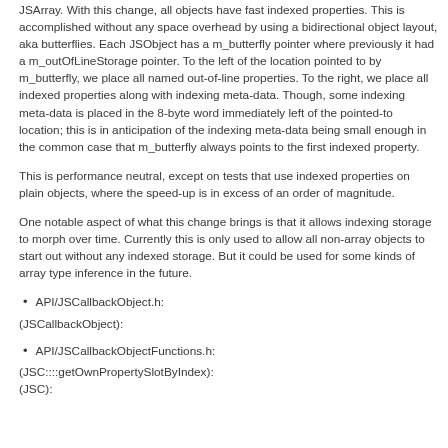JSArray. With this change, all objects have fast indexed properties. This is accomplished without any space overhead by using a bidirectional object layout, aka butterflies. Each JSObject has a m_butterfly pointer where previously it had a m_outOfLineStorage pointer. To the left of the location pointed to by m_butterfly, we place all named out-of-line properties. To the right, we place all indexed properties along with indexing meta-data. Though, some indexing meta-data is placed in the 8-byte word immediately left of the pointed-to location; this is in anticipation of the indexing meta-data being small enough in the common case that m_butterfly always points to the first indexed property.
This is performance neutral, except on tests that use indexed properties on plain objects, where the speed-up is in excess of an order of magnitude.
One notable aspect of what this change brings is that it allows indexing storage to morph over time. Currently this is only used to allow all non-array objects to start out without any indexed storage. But it could be used for some kinds of array type inference in the future.
API/JSCallbackObject.h:
(JSCallbackObject):
API/JSCallbackObjectFunctions.h:
(JSC::::getOwnPropertySlotByIndex):
(JSC):